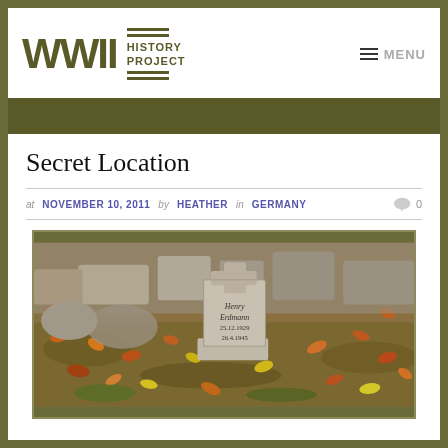WWII HISTORY PROJECT — MENU
Secret Location
at NOVEMBER 10, 2011 by HEATHER in GERMANY 0
[Figure (photo): A stone grave marker for Henry Erdmann, with dates 25.12.1929 and 26.4.1945, surrounded by autumn leaves on the ground.]